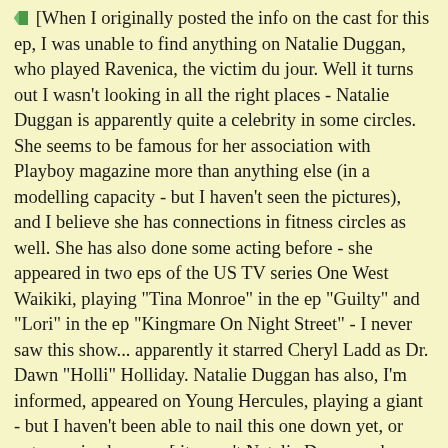[When I originally posted the info on the cast for this ep, I was unable to find anything on Natalie Duggan, who played Ravenica, the victim du jour. Well it turns out I wasn't looking in all the right places - Natalie Duggan is apparently quite a celebrity in some circles. She seems to be famous for her association with Playboy magazine more than anything else (in a modelling capacity - but I haven't seen the pictures), and I believe she has connections in fitness circles as well. She has also done some acting before - she appeared in two eps of the US TV series One West Waikiki, playing "Tina Monroe" in the ep "Guilty" and "Lori" in the ep "Kingmare On Night Street" - I never saw this show... apparently it starred Cheryl Ladd as Dr. Dawn "Holli" Holliday. Natalie Duggan has also, I'm informed, appeared on Young Hercules, playing a giant - but I haven't been able to nail this one down yet, or get an episode name [ it wasn't Natalie Duggan who played a giant on Young Hercules, it was Alison Wall.